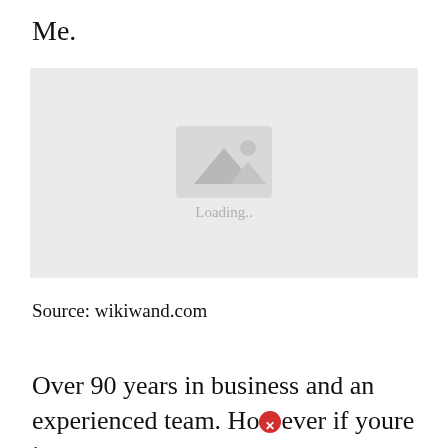Me.
[Figure (photo): Image placeholder with loading indicator showing a mountain/landscape icon and 'Loading..' text on a light grey background]
Source: wikiwand.com
Over 90 years in business and an experienced team. However if youre just